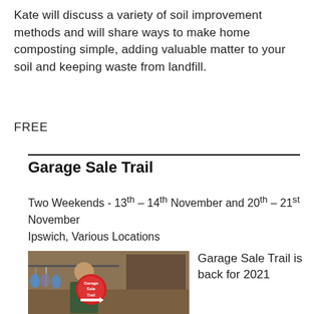Kate will discuss a variety of soil improvement methods and will share ways to make home composting simple, adding valuable matter to your soil and keeping waste from landfill.
FREE
Garage Sale Trail
Two Weekends - 13th – 14th November and 20th – 21st November
Ipswich, Various Locations
[Figure (photo): Person holding a Garage Sale Trail logo badge/sign in a garage setting with hanging clothes.]
Garage Sale Trail is back for 2021